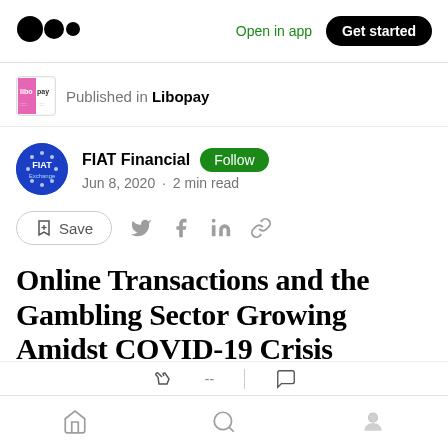Open in app | Get started
Published in Libopay
FIAT Financial · Follow · Jun 8, 2020 · 2 min read
Save (share icons)
Online Transactions and the Gambling Sector Growing Amidst COVID-19 Crisis
Home | Search | Profile